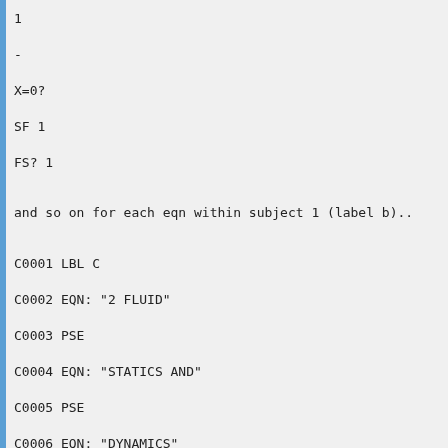1

-

X=0?

SF 1

FS? 1

and so on for each eqn within subject 1 (label b)..

C0001 LBL C

C0002 EQN: "2 FLUID"

C0003 PSE

C0004 EQN: "STATICS AND"

C0005 PSE

C0006 EQN: "DYNAMICS"